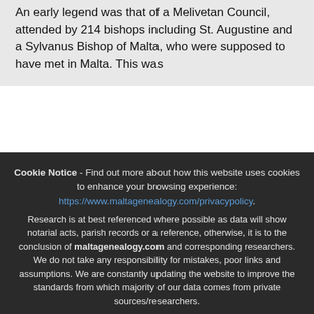allegedly ancient and noble graves there[31]. An early legend was that of a Melivetan Council, attended by 214 bishops including St. Augustine and a Sylvanus Bishop of Malta, who were supposed to have met in Malta. This was
Cookie Notice - Find out more about how this website uses cookies to enhance your browsing experience: https://www.maltagenealogy.com/privacypolicy. Research is at best referenced where possible as data will show notarial acts, parish records or a reference, otherwise, it is to the conclusion of maltagenealogy.com and corresponding researchers. We do not take any responsibility for mistakes, poor links and assumptions. We are constantly updating the website to improve the standards from which majority of our data comes from private sources/researchers.
Accept